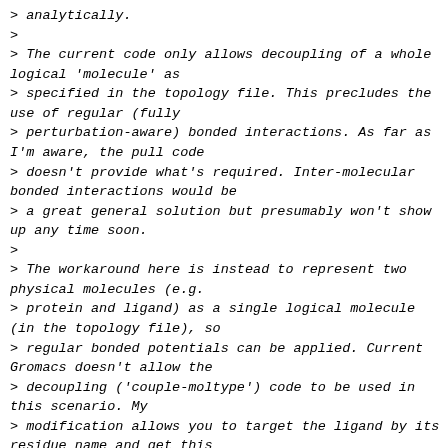> analytically.
>
> The current code only allows decoupling of a whole logical 'molecule' as
> specified in the topology file. This precludes the use of regular (fully
> perturbation-aware) bonded interactions. As far as I'm aware, the pull code
> doesn't provide what's required. Inter-molecular bonded interactions would be
> a great general solution but presumably won't show up any time soon.
>
> The workaround here is instead to represent two physical molecules (e.g.
> protein and ligand) as a single logical molecule (in the topology file), so
> regular bonded potentials can be applied. Current Gromacs doesn't allow the
> decoupling ('couple-moltype') code to be used in this scenario. My
> modification allows you to target the ligand by its residue name and get this
> functionality back.
>
> Decoupling a single residue of a multi-residue chain is indeed probably not
> correct in this framework (I did call it 'weird' in my last message :-) ). An
> extra check would block users from trying this.